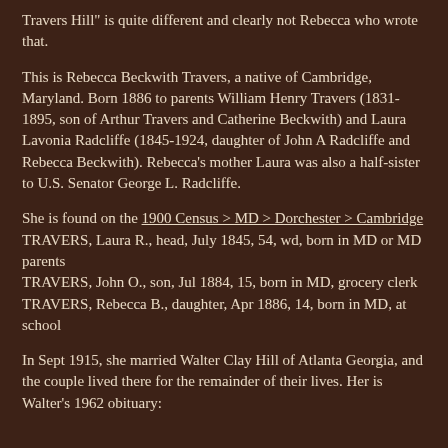Travers Hill" is quite different and clearly not Rebecca who wrote that.
This is Rebecca Beckwith Travers, a native of Cambridge, Maryland. Born 1886 to parents William Henry Travers (1831-1895, son of Arthur Travers and Catherine Beckwith) and Laura Lavonia Radcliffe (1845-1924, daughter of John A Radcliffe and Rebecca Beckwith). Rebecca's mother Laura was also a half-sister to U.S. Senator George L. Radcliffe.
She is found on the 1900 Census > MD > Dorchester > Cambridge
TRAVERS, Laura R., head, July 1845, 54, wd, born in MD or MD parents
TRAVERS, John O., son, Jul 1884, 15, born in MD, grocery clerk
TRAVERS, Rebecca B., daughter, Apr 1886, 14, born in MD, at school
In Sept 1915, she married Walter Clay Hill of Atlanta Georgia, and the couple lived there for the remainder of their lives. Her is Walter's 1962 obituary: